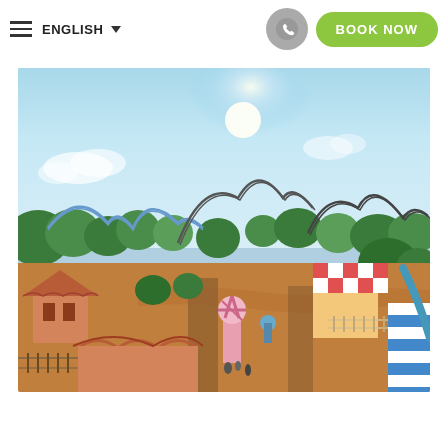≡ ENGLISH ▼  [phone icon] BOOK NOW
[Figure (photo): Aerial view of a colorful theme park with roller coasters, terracotta-roofed buildings, a pink windmill, winding pathways, lush green trees, and a bright sunny sky.]